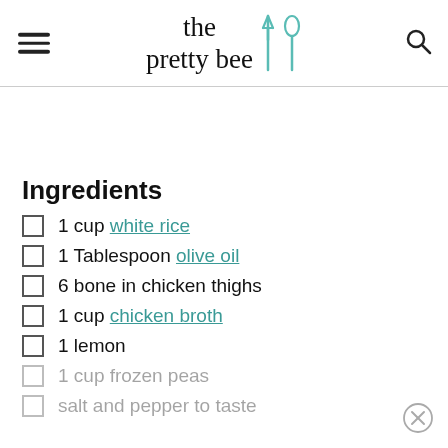the pretty bee
Ingredients
1 cup white rice
1 Tablespoon olive oil
6 bone in chicken thighs
1 cup chicken broth
1 lemon
1 cup frozen peas
salt and pepper to taste